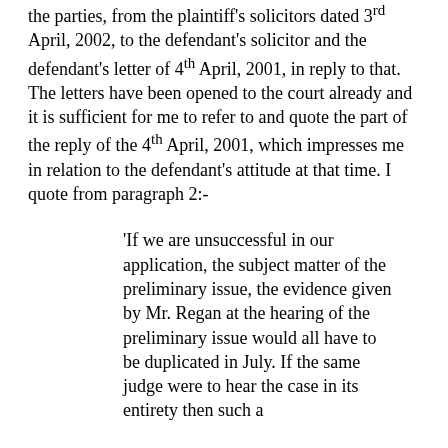the parties, from the plaintiff's solicitors dated 3rd April, 2002, to the defendant's solicitor and the defendant's letter of 4th April, 2001, in reply to that. The letters have been opened to the court already and it is sufficient for me to refer to and quote the part of the reply of the 4th April, 2001, which impresses me in relation to the defendant's attitude at that time. I quote from paragraph 2:-
'If we are unsuccessful in our application, the subject matter of the preliminary issue, the evidence given by Mr. Regan at the hearing of the preliminary issue would all have to be duplicated in July. If the same judge were to hear the case in its entirety then such a